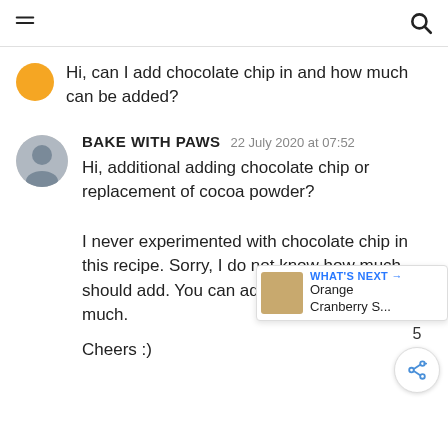Navigation header with hamburger menu and search icon
Hi, can I add chocolate chip in and how much can be added?
BAKE WITH PAWS  22 July 2020 at 07:52
Hi, additional adding chocolate chip or replacement of cocoa powder?

I never experimented with chocolate chip in this recipe. Sorry, I do not know how much should add. You can add but don't know how much.

Cheers :)